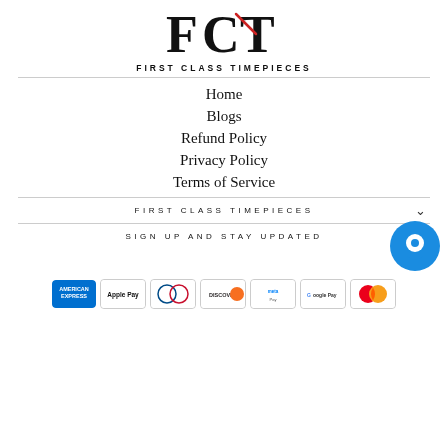[Figure (logo): FCT First Class Timepieces logo with stylized letters and a red clock hand accent]
Home
Blogs
Refund Policy
Privacy Policy
Terms of Service
FIRST CLASS TIMEPIECES
SIGN UP AND STAY UPDATED
[Figure (other): Payment method icons: American Express, Apple Pay, Diners Club, Discover, Meta Pay, Google Pay, Mastercard]